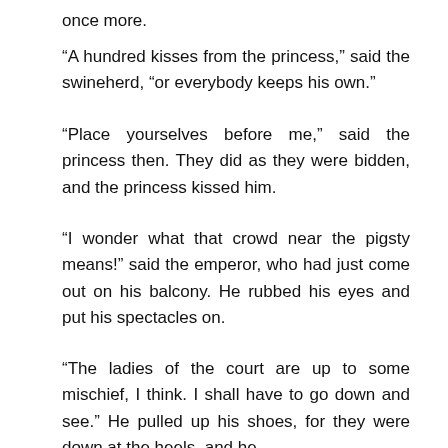once more.
“A hundred kisses from the princess,” said the swineherd, “or everybody keeps his own.”
“Place yourselves before me,” said the princess then. They did as they were bidden, and the princess kissed him.
“I wonder what that crowd near the pigsty means!” said the emperor, who had just come out on his balcony. He rubbed his eyes and put his spectacles on.
“The ladies of the court are up to some mischief, I think. I shall have to go down and see.” He pulled up his shoes, for they were down at the heels, and he was very quick about it. When he had come down